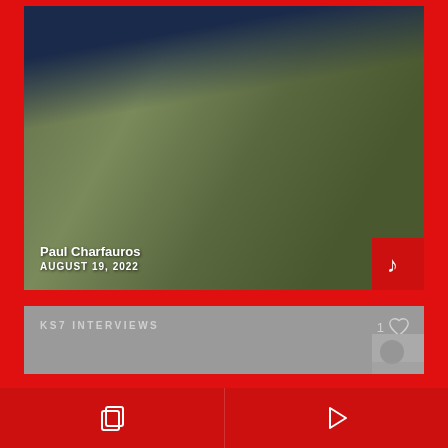[Figure (screenshot): Mobile app screenshot showing a video thumbnail of Paul Charfauros dated August 19, 2022, with a music icon in the bottom right corner of the thumbnail. Below is a gray card showing 'KS7 INTERVIEWS' label with a heart/like count of 1. At the bottom is a red navigation bar with copy and play icons.]
Paul Charfauros
AUGUST 19, 2022
KS7 INTERVIEWS
1